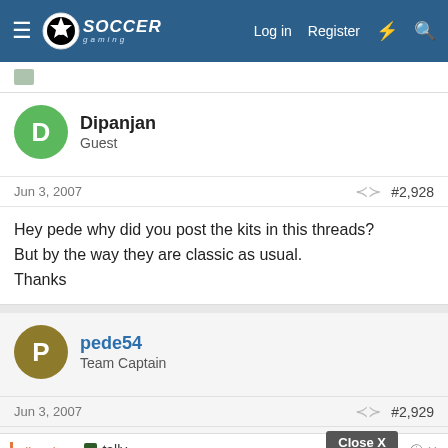Soccer Gaming — Log in | Register
Dipanjan
Guest
Jun 3, 2007   #2,928
Hey pede why did you post the kits in this threads?
But by the way they are classic as usual.
Thanks
pede54
Team Captain
Jun 3, 2007   #2,929
dipanja
Hey pe
Fast credit card payoff
Download Now